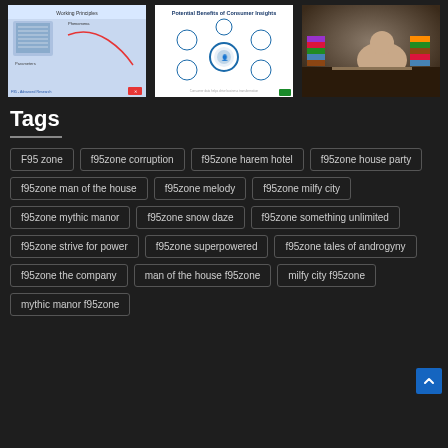[Figure (screenshot): Working Principles schematic diagram with technical chart]
[Figure (infographic): Potential Benefits of Consumer Insights circular diagram]
[Figure (photo): Person reading surrounded by stacks of books]
Tags
F95 zone
f95zone corruption
f95zone harem hotel
f95zone house party
f95zone man of the house
f95zone melody
f95zone milfy city
f95zone mythic manor
f95zone snow daze
f95zone something unlimited
f95zone strive for power
f95zone superpowered
f95zone tales of androgyny
f95zone the company
man of the house f95zone
milfy city f95zone
mythic manor f95zone